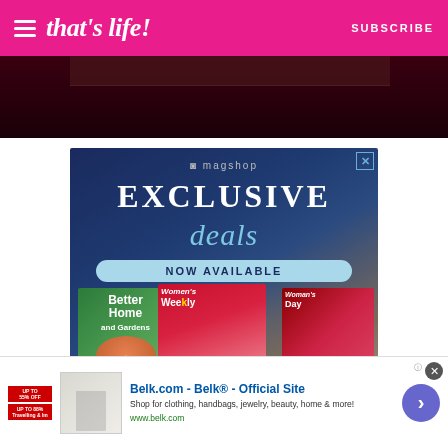that's life! — SUBSCRIBE
[Figure (screenshot): Dark maroon image area, partial photo visible at top]
[Figure (infographic): Magshop ad: EXCLUSIVE deals NOW AVAILABLE, showing magazine covers including Better Homes and Gardens, Women's Weekly, and Woman's Day with Boarding School Scandal Explodes headline]
[Figure (infographic): Belk.com advertisement: Shop for clothing, handbags, jewelry, beauty, home & more! www.belk.com, with arrow button and product images showing up to 55% off]